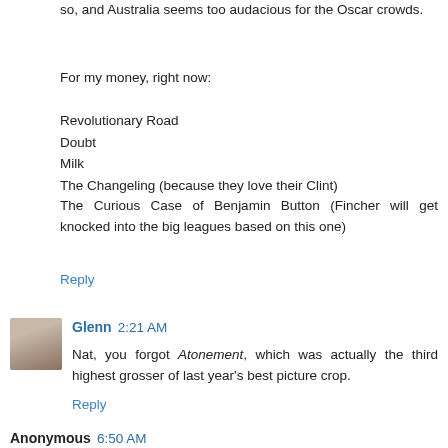so, and Australia seems too audacious for the Oscar crowds.
For my money, right now:
Revolutionary Road
Doubt
Milk
The Changeling (because they love their Clint)
The Curious Case of Benjamin Button (Fincher will get knocked into the big leagues based on this one)
Reply
Glenn  2:21 AM
Nat, you forgot Atonement, which was actually the third highest grosser of last year's best picture crop.
Reply
Anonymous  6:50 AM